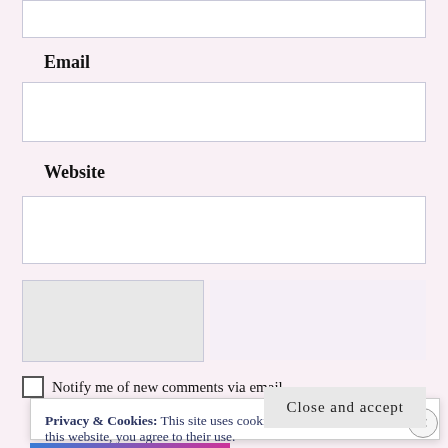[input field top]
Email
[email input field]
Website
[website input field]
[captcha/form fields]
Notify me of new comments via email.
Privacy & Cookies: This site uses cookies. By continuing to use this website, you agree to their use.
To find out more, including how to control cookies, see here:
Cookie Policy
Close and accept